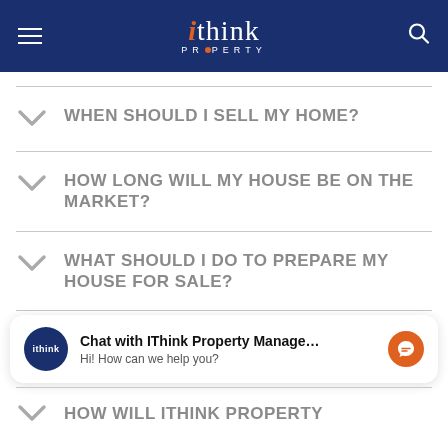[Figure (logo): iThink Property logo on dark navy blue header bar with hamburger menu on left and search icon on right]
WHEN SHOULD I SELL MY HOME?
HOW LONG WILL MY HOUSE BE ON THE MARKET?
WHAT SHOULD I DO TO PREPARE MY HOUSE FOR SALE?
Chat with IThink Property Manage… Hi! How can we help you?
HOW WILL ITHINK PROPERTY